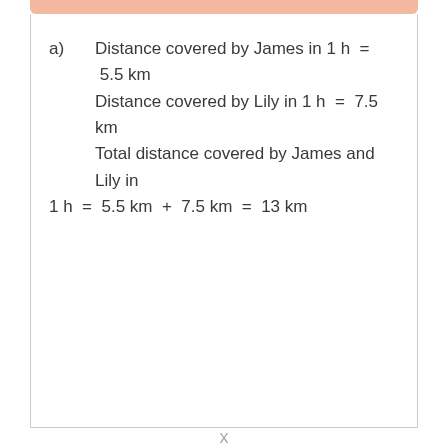a)  Distance covered by James in 1 h  =  5.5 km
        Distance covered by Lily in 1 h  =  7.5 km
        Total distance covered by James and Lily in 1 h  =  5.5 km  +  7.5 km  =  13 km